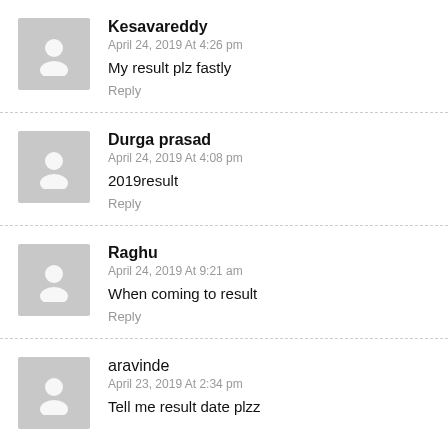Kesavareddy
April 24, 2019 At 4:26 pm
My result plz fastly
Reply
Durga prasad
April 24, 2019 At 4:08 pm
2019result
Reply
Raghu
April 24, 2019 At 9:21 am
When coming to result
Reply
aravinde
April 23, 2019 At 2:34 pm
Tell me result date plzz